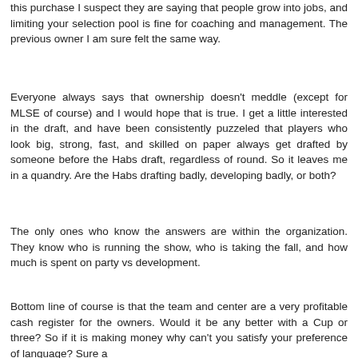this purchase I suspect they are saying that people grow into jobs, and limiting your selection pool is fine for coaching and management. The previous owner I am sure felt the same way.
Everyone always says that ownership doesn't meddle (except for MLSE of course) and I would hope that is true. I get a little interested in the draft, and have been consistently puzzeled that players who look big, strong, fast, and skilled on paper always get drafted by someone before the Habs draft, regardless of round. So it leaves me in a quandry. Are the Habs drafting badly, developing badly, or both?
The only ones who know the answers are within the organization. They know who is running the show, who is taking the fall, and how much is spent on party vs development.
Bottom line of course is that the team and center are a very profitable cash register for the owners. Would it be any better with a Cup or three? So if it is making money why can't you satisfy your preference of language? Sure a